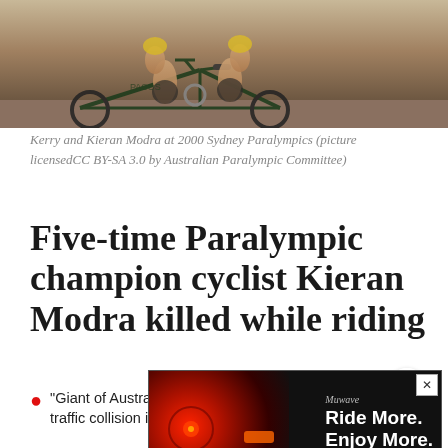[Figure (photo): Kerry and Kieran Modra on a tandem bicycle at 2000 Sydney Paralympics]
Kerry and Kieran Modra at 2000 Sydney Paralympics (picture licensedCC BY-SA 3.0 by Australian Paralympic Committee)
Five-time Paralympic champion cyclist Kieran Modra killed while riding
"Giant of Australian Paralympic sport" lost life in road traffic collision in Adelaide this morning...
by SIMON MACMICHAEL
WED,
[Figure (screenshot): Advertisement overlay: Muwave - Ride More. Enjoy More. with red bike light image]
Follo